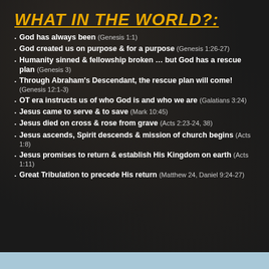WHAT IN THE WORLD?:
God has always been (Genesis 1:1)
God created us on purpose & for a purpose (Genesis 1:26-27)
Humanity sinned & fellowship broken … but God has a rescue plan (Genesis 3)
Through Abraham's Descendant, the rescue plan will come! (Genesis 12:1-3)
OT era instructs us of who God is and who we are (Galatians 3:24)
Jesus came to serve & to save (Mark 10:45)
Jesus died on cross & rose from grave (Acts 2:23-24, 38)
Jesus ascends, Spirit descends & mission of church begins (Acts 1:8)
Jesus promises to return & establish His Kingdom on earth (Acts 1:11)
Great Tribulation to precede His return (Matthew 24, Daniel 9:24-27)